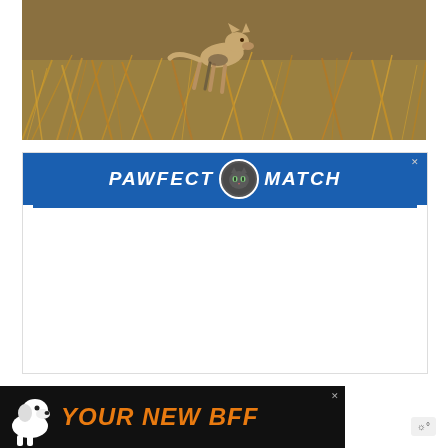[Figure (photo): A wild animal (likely a coyote or fox) walking through dry golden grass in a field]
[Figure (infographic): Advertisement banner for 'PAWFECT MATCH' in blue with a cat icon in the center, white italic bold text, and a close X button]
[Figure (infographic): Advertisement banner for 'YOUR NEW BFF' with black background, orange bold italic text, and a dog silhouette on the left]